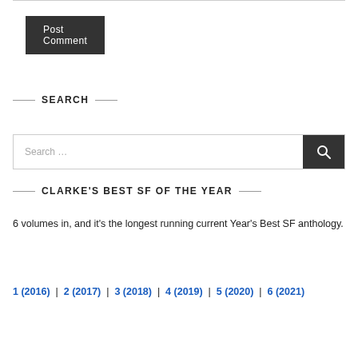[Figure (other): Post Comment button — dark gray rectangle with white text]
SEARCH
[Figure (other): Search input field with search button]
CLARKE'S BEST SF OF THE YEAR
6 volumes in, and it's the longest running current Year's Best SF anthology.
1 (2016) | 2 (2017) | 3 (2018) | 4 (2019) | 5 (2020) | 6 (2021)